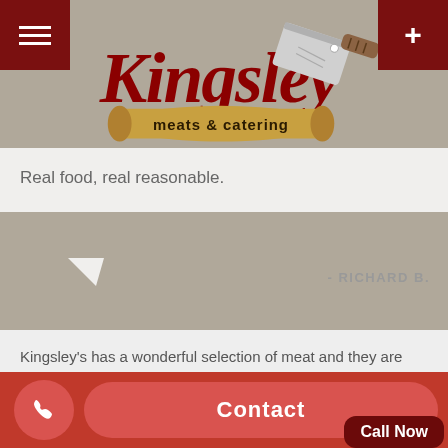[Figure (logo): Kingsley Meats & Catering logo with script text and cleaver]
Real food, real reasonable.
- RICHARD B.
Kingsley's has a wonderful selection of meat and they are very accommodating and how you would like it trimmed. They do a great job with catering to as well!
Call Now
Contact